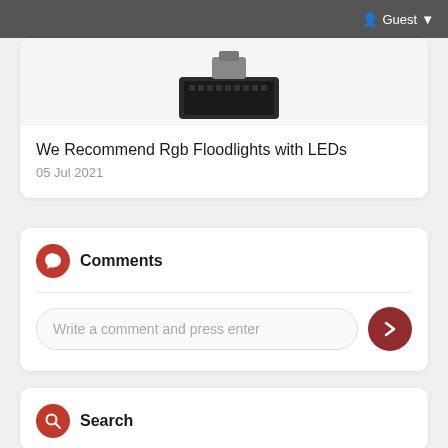Guest
[Figure (photo): Partial image of an RGB LED floodlight fixture, showing the top portion of the device against a white background]
We Recommend Rgb Floodlights with LEDs
05 Jul 2021
Comments
Write a comment and press enter
Search